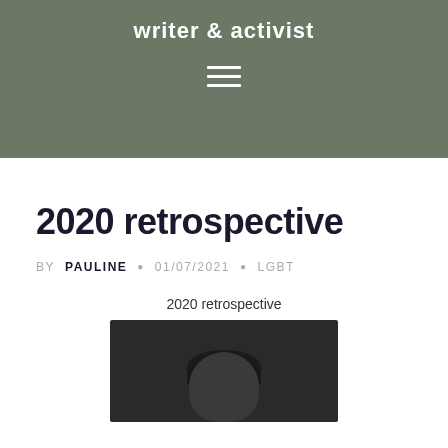writer & activist
2020 retrospective
BY PAULINE • 01/07/2021 • LGBT
2020 retrospective
[Figure (photo): A person with dark hair photographed against a dark background, visible from shoulders up, partial view cut off at bottom of page.]